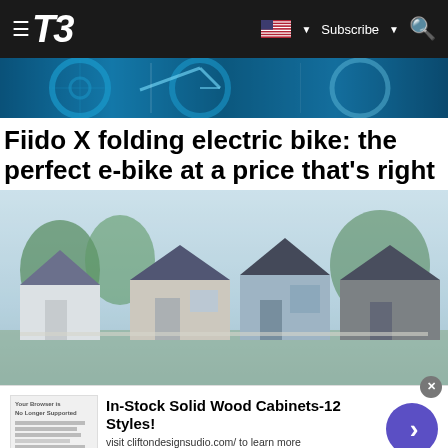T3 — Subscribe
[Figure (photo): Hero banner image showing blue-toned bicycle/tech imagery]
Fiido X folding electric bike: the perfect e-bike at a price that's right
[Figure (photo): Blurred photo of a row of small modern houses with trees in background]
[Figure (other): Advertisement banner: In-Stock Solid Wood Cabinets-12 Styles! visit cliftondesignsudio.com/ to learn more. www.cliftondesignsudio.com]